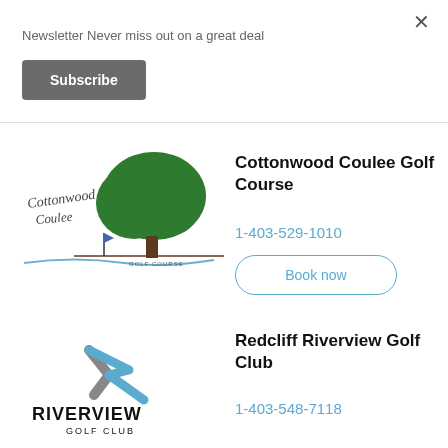Newsletter Never miss out on a great deal
Subscribe
[Figure (logo): Cottonwood Coulee Golf Course logo with large green tree and script text]
Cottonwood Coulee Golf Course
1-403-529-1010
Book now
[Figure (logo): Riverview Golf Club logo with stylized R arrow and bold text]
Redcliff Riverview Golf Club
1-403-548-7118